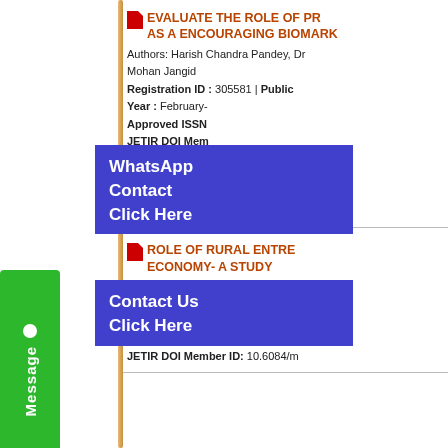[Figure (other): Green Message button on left side panel]
EVALUATE THE ROLE OF PR AS A ENCOURAGING BIOMARK
Authors: Harish Chandra Pandey, Dr Mohan Jangid
Registration ID : 305581 | Public
Year : February-
Approved ISSN
JETIR DOI Mem
No of times Do
Published Paper URL : https://ww
Published Pape
Available at : ht
[Figure (other): WhatsApp Contact Click Here overlay popup]
[Figure (other): Contact Us Click Here overlay popup]
ROLE OF RURAL ENTRE ECONOMY- A STUDY
Authors: Dr. Rekha Lakhotia
Registration ID : 305582 | Public
Year : February-2021 | Volume: 8
Approved ISSN : 2349-5162 | Co
JETIR DOI Member ID: 10.6084/m